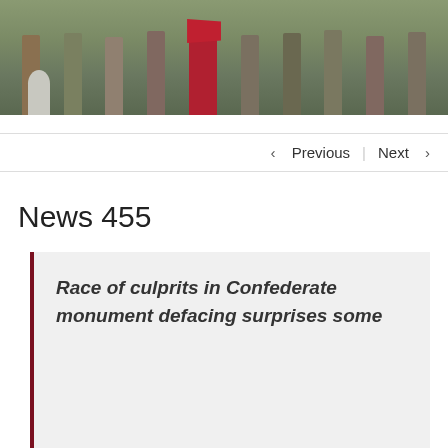[Figure (photo): Group of people in Civil War era clothing standing in a row outdoors, holding rifles, with a Confederate flag visible among them, in what appears to be a cemetery or park setting.]
< Previous   Next >
News 455
Race of culprits in Confederate monument defacing surprises some